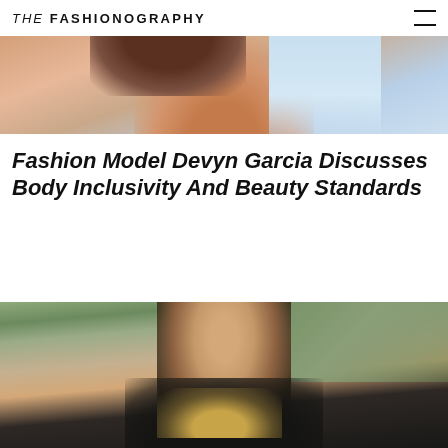THE FASHIONOGRAPHY
[Figure (photo): Top portion of a fashion photo showing a model's shoulder and hair against a light sky background]
Fashion Model Devyn Garcia Discusses Body Inclusivity And Beauty Standards
[Figure (photo): Portrait photo of a woman with dark hair, blue eyes, wearing a black jacket with yellow collar, photographed outdoors against a rocky/shrubby background]